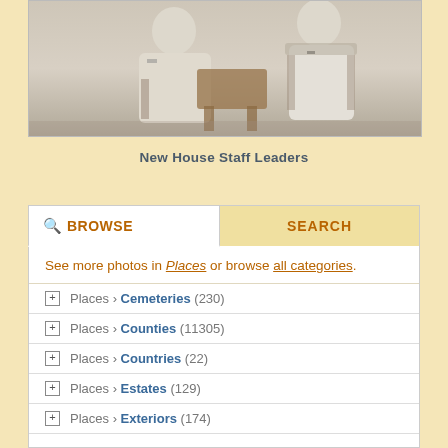[Figure (photo): Black and white photograph of two men in white clothing sitting near a desk, likely a historical photo of house staff leaders.]
New House Staff Leaders
See more photos in Places or browse all categories.
Places › Cemeteries (230)
Places › Counties (11305)
Places › Countries (22)
Places › Estates (129)
Places › Exteriors (174)